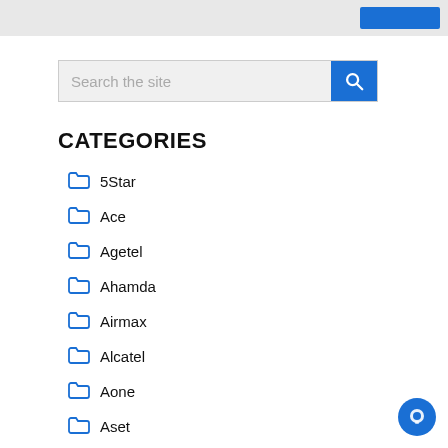[Figure (screenshot): Top navigation bar with blue button on the right]
[Figure (screenshot): Search bar with text 'Search the site' and blue search button]
CATEGORIES
5Star
Ace
Agetel
Ahamda
Airmax
Alcatel
Aone
Aset
Bird
BLU
Blumax